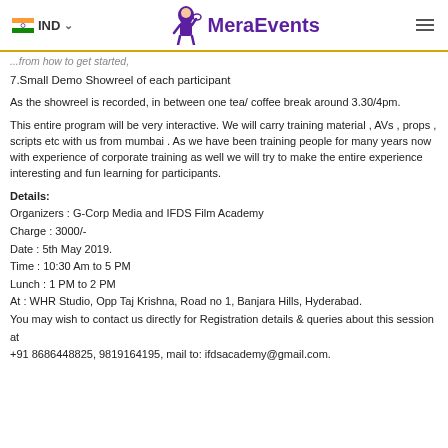IND  MeraEvents
...from how to get started,
7.Small Demo Showreel of each participant
As the showreel is recorded, in between one tea/ coffee break around 3.30/4pm.
This entire program will be very interactive. We will carry training material , AVs , props , scripts etc with us from mumbai . As we have been training people for many years now with experience of corporate training as well we will try to make the entire experience interesting and fun learning for participants.
Details:
Organizers : G-Corp Media and IFDS Film Academy
Charge : 3000/-
Date : 5th May 2019.
Time : 10:30 Am to 5 PM
Lunch : 1 PM to 2 PM
At : WHR Studio, Opp Taj Krishna, Road no 1, Banjara Hills, Hyderabad.
You may wish to contact us directly for Registration details & queries about this session at
+91 8686448825, 9819164195, mail to: ifdsacademy@gmail.com.